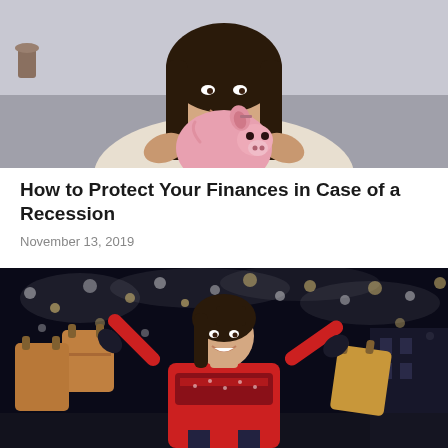[Figure (photo): Woman smiling and holding a pink piggy bank, seated on a couch with a beige/grey background]
How to Protect Your Finances in Case of a Recession
November 13, 2019
[Figure (photo): Woman in a red coat and reindeer scarf smiling and holding shopping bags, with bokeh Christmas lights in the background]